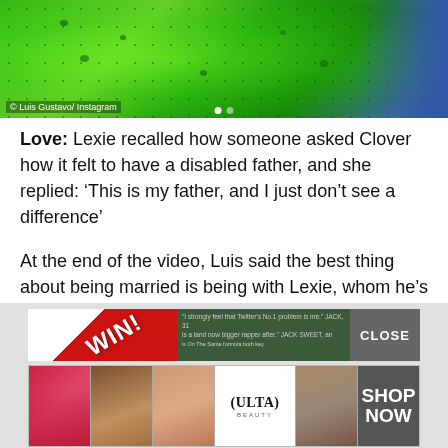[Figure (photo): Green tropical leaf close-up with speckled pattern, partial blue background visible at right]
© Luis Gustavo/ Instagram
Love: Lexie recalled how someone asked Clover how it felt to have a disabled father, and she replied: ‘This is my father, and I just don’t see a difference’
At the end of the video, Luis said the best thing about being married is being with Lexie, whom he’s been with for a total of 13 years.
In another video marking their anniversary last year, Lexie recounted Luis’s accident and how she refused to give up on him.
[Figure (screenshot): Advertisement banner: red WIN! area with diagonal stripe, green text area, CLOSE button, and ULTA beauty ad row with makeup images and SHOP NOW button]